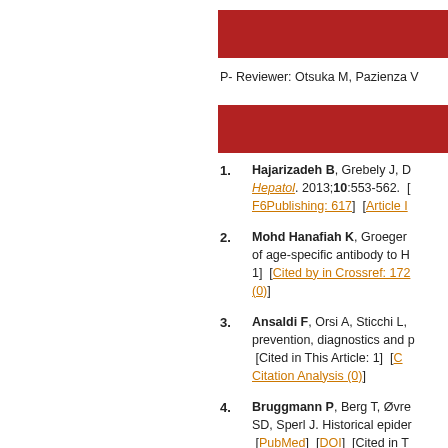P- Reviewer: Otsuka M, Pazienza V
1. Hajarizadeh B, Grebely J, D... Hepatol. 2013;10:553-562. [F6Publishing: 617] [Article ...]
2. Mohd Hanafiah K, Groeger... of age-specific antibody to H... 1] [Cited by in Crossref: 172... (0)]
3. Ansaldi F, Orsi A, Sticchi L,... prevention, diagnostics and p... [Cited in This Article: 1] [C... Citation Analysis (0)]
4. Bruggmann P, Berg T, Øvre... SD, Sperl J. Historical epider... [PubMed] [DOI] [Cited in T... 21.9] [Reference Citation An...]